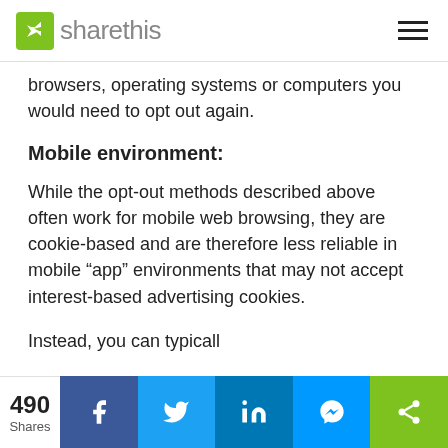sharethis
browsers, operating systems or computers you would need to opt out again.
Mobile environment:
While the opt-out methods described above often work for mobile web browsing, they are cookie-based and are therefore less reliable in mobile “app” environments that may not accept interest-based advertising cookies.
Instead, you can typicall
490 Shares